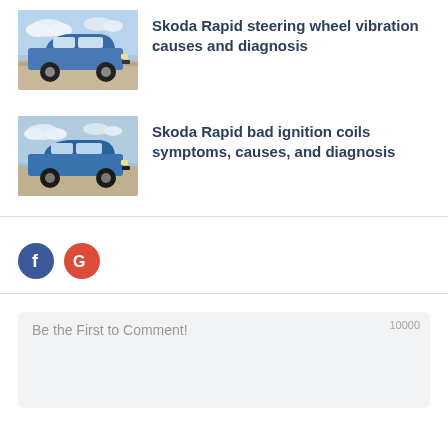[Figure (photo): Skoda Rapid car thumbnail - blue/white car on road with cloudy sky background]
Skoda Rapid steering wheel vibration causes and diagnosis
[Figure (photo): Skoda Rapid car thumbnail - blue car on road with cloudy sky background]
Skoda Rapid bad ignition coils symptoms, causes, and diagnosis
[Figure (infographic): Social login buttons: Facebook (blue circle with f) and Google (red circle with G)]
Be the First to Comment!